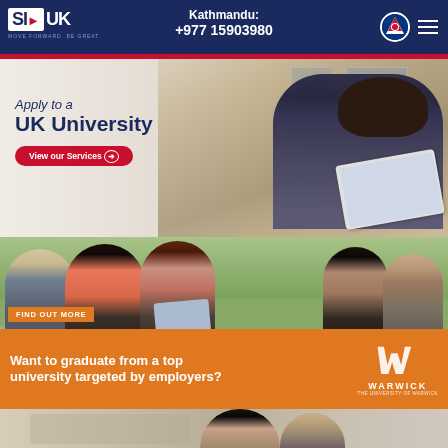SI-UK | MOVE FORWARD. BE GREAT. | Kathmandu: +977 15903980
[Figure (photo): Hero banner showing a female student sitting with a laptop against a university building backdrop, with text 'Apply to a UK University' and a red 'View our Services' button]
[Figure (photo): Warwick University promotional banner showing a group of students studying outdoors among flowers, with orange bottom section reading 'FIND OUT MORE - Want to graduate from a top university targeted by employers?' and the Warwick University logo]
[Figure (photo): Partial bottom strip showing two students]